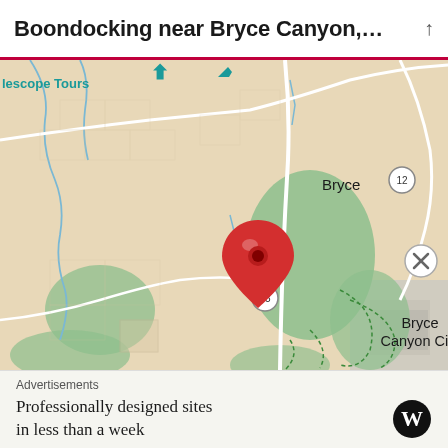Boondocking near Bryce Canyon, ...
[Figure (map): Google Maps view showing Bryce Canyon area with a red location pin dropped near Bryce Canyon National Park. Shows the town of Bryce to the north, Bryce Canyon City to the south, highway 63, highway 12, and green park areas. Blue river lines visible on left side. Tan/beige base map with white roads.]
Advertisements
Professionally designed sites in less than a week